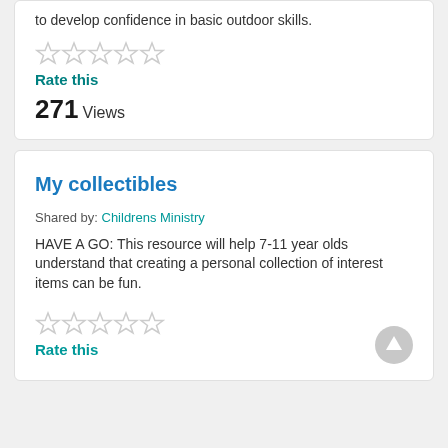to develop confidence in basic outdoor skills.
[Figure (other): Five empty star rating icons]
Rate this
271 Views
My collectibles
Shared by: Childrens Ministry
HAVE A GO: This resource will help 7-11 year olds understand that creating a personal collection of interest items can be fun.
[Figure (other): Five empty star rating icons]
Rate this